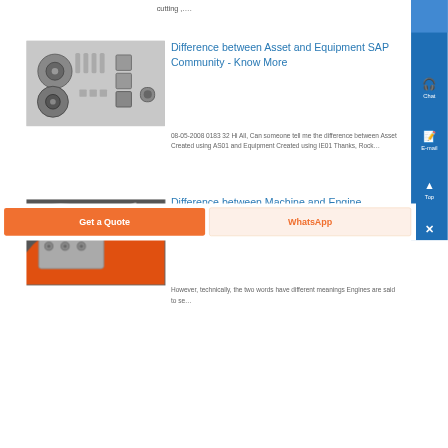cutting ,...
[Figure (photo): Photo of metal sprockets, bolts, and square bracket hardware parts laid out on a metal surface]
Difference between Asset and Equipment SAP Community - Know More
08-05-2008 0183 32 Hi All, Can someone tell me the difference between Asset Created using AS01 and Equipment Created using IE01 Thanks, Rock...
[Figure (photo): Close-up photo of an orange and metal mechanical part with bolts]
Difference between Machine and Engine Machine vs Engine - Know More
However, technically, the two words have different meanings Engines are said to se...
Get a Quote
WhatsApp